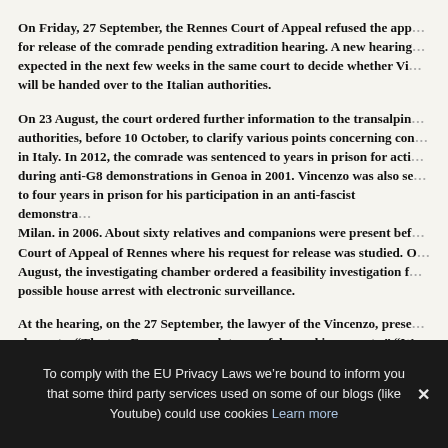On Friday, 27 September, the Rennes Court of Appeal refused the application for release of the comrade pending extradition hearing. A new hearing is expected in the next few weeks in the same court to decide whether Vincenzo will be handed over to the Italian authorities.
On 23 August, the court ordered further information to the transalpine authorities, before 10 October, to clarify various points concerning convictions in Italy. In 2012, the comrade was sentenced to years in prison for activities during anti-G8 demonstrations in Genoa in 2001. Vincenzo was also sentenced to four years in prison for his participation in an anti-fascist demonstration in Milan. in 2006. About sixty relatives and companions were present before the Court of Appeal of Rennes where his request for release was studied. On 23 August, the investigating chamber ordered a feasibility investigation for a possible house arrest with electronic surveillance.
At the hearing, on the 27 September, the lawyer of the Vincenzo, presented elements: “The two European mandates are false and inaccurate.” “We added a document that shows that one of the convictions in Italy” (not the Milan case) has been fully executed.”
To comply with the EU Privacy Laws we’re bound to inform you that some third party services used on some of our blogs (like Youtube) could use cookies Learn more